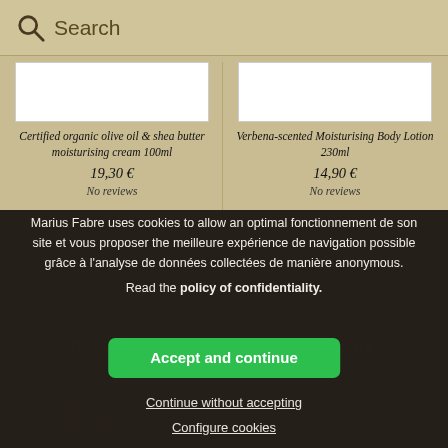Search
Certified organic olive oil & shea butter moisturising cream 100ml
19,30 €
No reviews
Verbena-scented Moisturising Body Lotion 230ml
14,90 €
No reviews
Marius Fabre uses cookies to allow an optimal fonctionnement de son site et vous proposer the meilleure expérience de navigation possible grâce à l'analyse de données collectées de manière anonymous.
Read the policy of confidentiality.
Accept and continue
Continue without accepting
Configure cookies
BE SURE OF Y… ARIUS FABRE
Delivery in 72 hours
Secure online payment